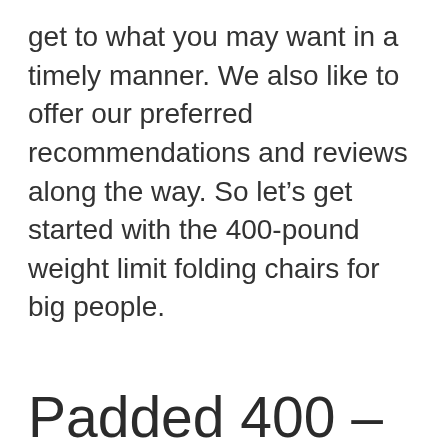get to what you may want in a timely manner. We also like to offer our preferred recommendations and reviews along the way. So let's get started with the 400-pound weight limit folding chairs for big people.
Padded 400 – 450 Lbs Folding Chairs